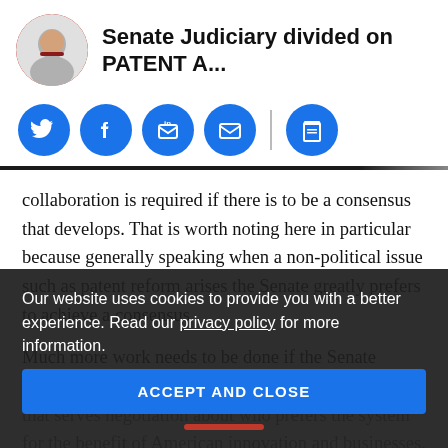Senate Judiciary divided on PATENT A...
[Figure (other): Social share buttons: Twitter, Facebook, LinkedIn, Email, Print]
collaboration is required if there is to be a consensus that develops. That is worth noting here in particular because generally speaking when a non-political issue such as patent reform arises the Senate greatly prefers to achieve a consensus.
Much more work needs to be done if the Senate Judiciary Committee is going to realize a consensus that serves negotiation about who prefers the system for the benefit of American innovation and businesses.
Our website uses cookies to provide you with a better experience. Read our privacy policy for more information.
ACCEPT AND CLOSE